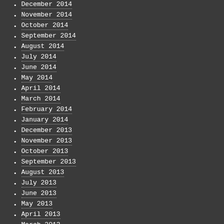December 2014
November 2014
October 2014
September 2014
August 2014
July 2014
June 2014
May 2014
April 2014
March 2014
February 2014
January 2014
December 2013
November 2013
October 2013
September 2013
August 2013
July 2013
June 2013
May 2013
April 2013
March 2013
February 2013